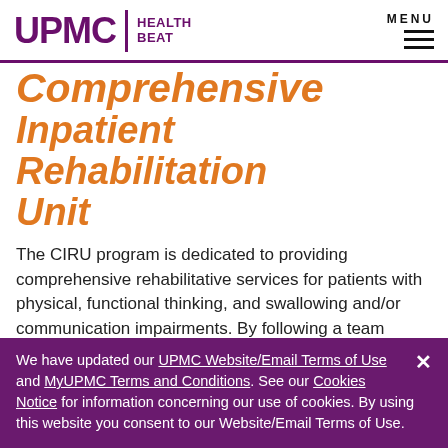UPMC | HEALTH BEAT
Comprehensive Inpatient Rehabilitation Unit
The CIRU program is dedicated to providing comprehensive rehabilitative services for patients with physical, functional thinking, and swallowing and/or communication impairments. By following a team approach, the CIRU provides sound rehabilitative therapy to effect
We have updated our UPMC Website/Email Terms of Use and MyUPMC Terms and Conditions. See our Cookies Notice for information concerning our use of cookies. By using this website you consent to our Website/Email Terms of Use.